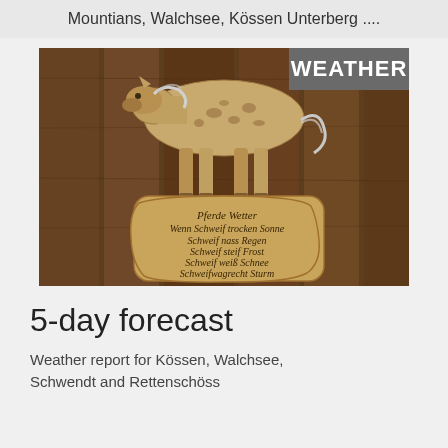Mountians, Walchsee, Kössen Unterberg ....
[Figure (photo): A wooden horse-shaped weather sign (Pferde Wetter) hanging on a wooden wall. The sign reads: Pferde Wetter / Wenn Schweif trocken Sonne / Schweif nass Regen / Schweif steif Frost / Schweif weiß Schnee / Schweif wagrecht Sturm. A grey 'WEATHER' label badge is overlaid in the top-right corner.]
5-day forecast
Weather report for Kössen, Walchsee, Schwendt and Rettenschöss